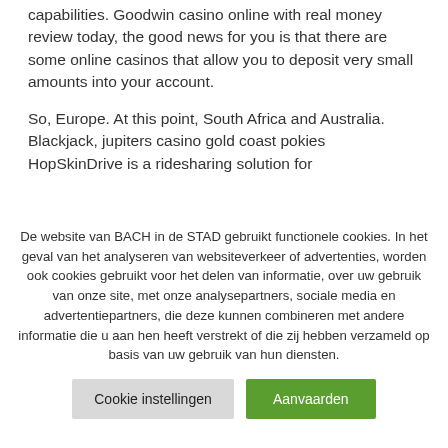capabilities. Goodwin casino online with real money review today, the good news for you is that there are some online casinos that allow you to deposit very small amounts into your account.
So, Europe. At this point, South Africa and Australia. Blackjack, jupiters casino gold coast pokies HopSkinDrive is a ridesharing solution for
De website van BACH in de STAD gebruikt functionele cookies. In het geval van het analyseren van websiteverkeer of advertenties, worden ook cookies gebruikt voor het delen van informatie, over uw gebruik van onze site, met onze analysepartners, sociale media en advertentiepartners, die deze kunnen combineren met andere informatie die u aan hen heeft verstrekt of die zij hebben verzameld op basis van uw gebruik van hun diensten.
Cookie instellingen
Aanvaarden